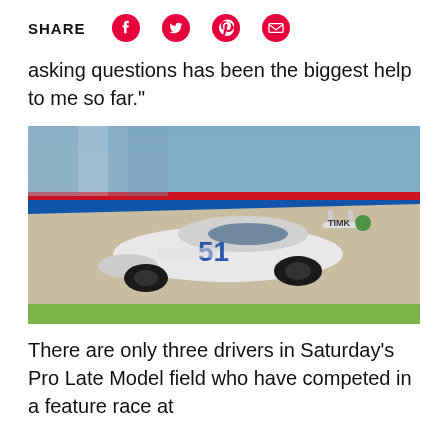SHARE
asking questions has been the biggest help to me so far.”
[Figure (photo): A white NASCAR-style Pro Late Model race car numbered 51 racing on a banked track with a blue wall in the background.]
There are only three drivers in Saturday’s Pro Late Model field who have competed in a feature race at